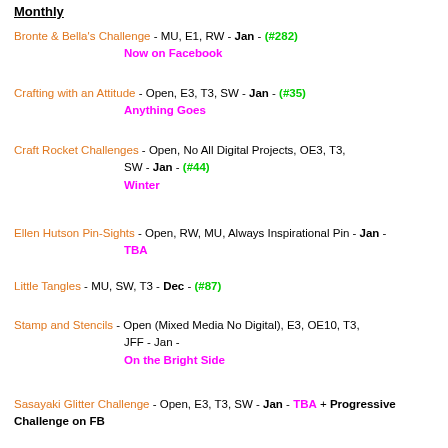Monthly
Bronte & Bella's Challenge - MU, E1, RW - Jan - (#282)
 Now on Facebook
Crafting with an Attitude - Open, E3, T3, SW - Jan - (#35)
 Anything Goes
Craft Rocket Challenges - Open, No All Digital Projects, OE3, T3, SW - Jan - (#44)
 Winter
Ellen Hutson Pin-Sights - Open, RW, MU, Always Inspirational Pin - Jan -
 TBA
Little Tangles - MU, SW, T3 - Dec - (#87)
Stamp and Stencils - Open (Mixed Media No Digital), E3, OE10, T3, JFF - Jan -
 On the Bright Side
Sasayaki Glitter Challenge - Open, E3, T3, SW - Jan - TBA + Progressive Challenge on FB